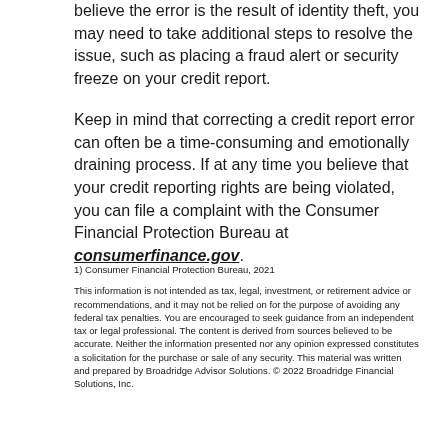believe the error is the result of identity theft, you may need to take additional steps to resolve the issue, such as placing a fraud alert or security freeze on your credit report.
Keep in mind that correcting a credit report error can often be a time-consuming and emotionally draining process. If at any time you believe that your credit reporting rights are being violated, you can file a complaint with the Consumer Financial Protection Bureau at consumerfinance.gov.
1) Consumer Financial Protection Bureau, 2021
This information is not intended as tax, legal, investment, or retirement advice or recommendations, and it may not be relied on for the purpose of avoiding any federal tax penalties. You are encouraged to seek guidance from an independent tax or legal professional. The content is derived from sources believed to be accurate. Neither the information presented nor any opinion expressed constitutes a solicitation for the purchase or sale of any security. This material was written and prepared by Broadridge Advisor Solutions. © 2022 Broadridge Financial Solutions, Inc.